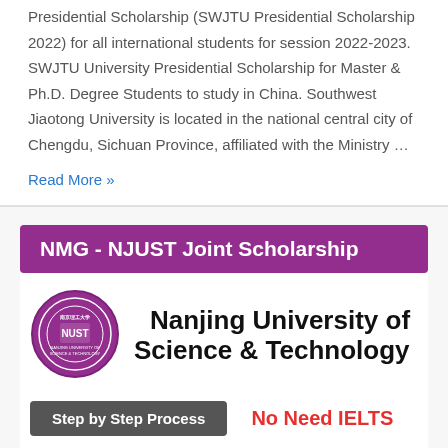Presidential Scholarship (SWJTU Presidential Scholarship 2022) for all international students for session 2022-2023. SWJTU University Presidential Scholarship for Master & Ph.D. Degree Students to study in China. Southwest Jiaotong University is located in the national central city of Chengdu, Sichuan Province, affiliated with the Ministry …
Read More »
NMG - NJUST Joint Scholarship
[Figure (logo): Nanjing University of Science & Technology circular seal/logo in purple]
Nanjing University of Science & Technology
Step by Step Process
No Need IELTS
Undergraduate, Master & PhD